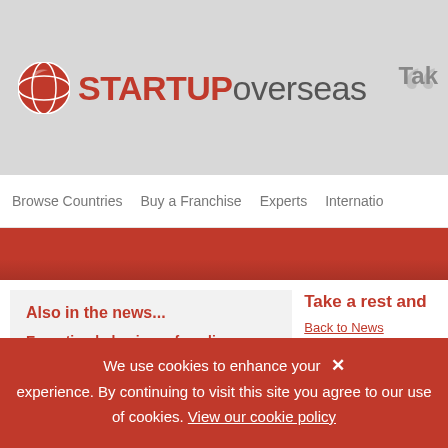[Figure (logo): STARTUPoverseas logo with red globe icon on left, STARTUP in red bold uppercase and overseas in grey]
Browse Countries   Buy a Franchise   Experts   Internatio...
Also in the news...
Exporting behaviour of medium-sized businesses
This report explores barriers to exporting facing medium-sized businesses and their support needs, in order to inform the development of DIT's export strategy.
Take a rest and
Back to News
Share this
Issues are compose
We use cookies to enhance your experience. By continuing to visit this site you agree to our use of cookies. View our cookie policy